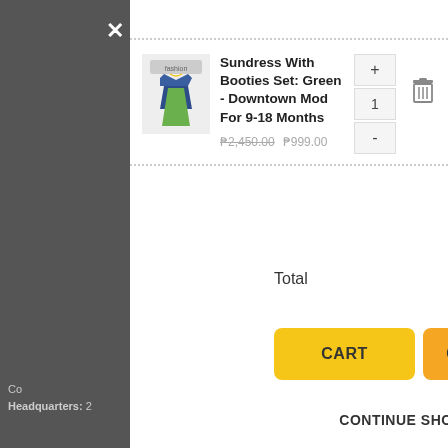[Figure (screenshot): Shopping cart overlay with dark left panel and white right panel showing product: Sundress With Booties Set]
Sundress With Booties Set: Green - Downtown Mod For 9-18 Months
₱2,450.00 ₱999.00
Total ₱999.00
CART
CHECKOUT
CONTINUE SHOPPING
Co
Headquarters: 2